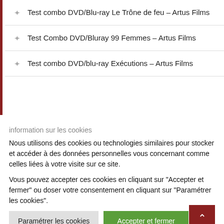Test combo DVD/Blu-ray Le Trône de feu – Artus Films
Test Combo DVD/Bluray 99 Femmes – Artus Films
Test combo DVD/blu-ray Exécutions – Artus Films
information sur les cookies
Nous utilisons des cookies ou technologies similaires pour stocker et accéder à des données personnelles vous concernant comme celles liées à votre visite sur ce site.
Vous pouvez accepter ces cookies en cliquant sur "Accepter et fermer" ou doser votre consentement en cliquant sur "Paramétrer les cookies".
Paramétrer les cookies
Accepter et fermer